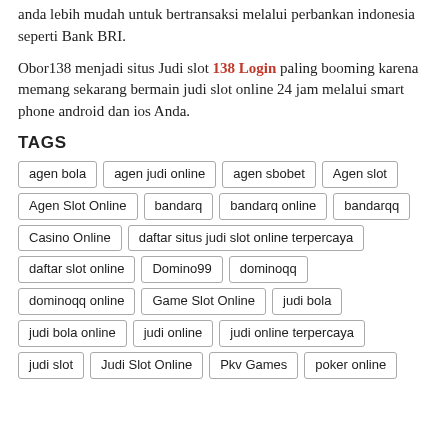anda lebih mudah untuk bertransaksi melalui perbankan indonesia seperti Bank BRI.
Obor138 menjadi situs Judi slot 138 Login paling booming karena memang sekarang bermain judi slot online 24 jam melalui smart phone android dan ios Anda.
TAGS
agen bola
agen judi online
agen sbobet
Agen slot
Agen Slot Online
bandarq
bandarq online
bandarqq
Casino Online
daftar situs judi slot online terpercaya
daftar slot online
Domino99
dominoqq
dominoqq online
Game Slot Online
judi bola
judi bola online
judi online
judi online terpercaya
judi slot
Judi Slot Online
Pkv Games
poker online